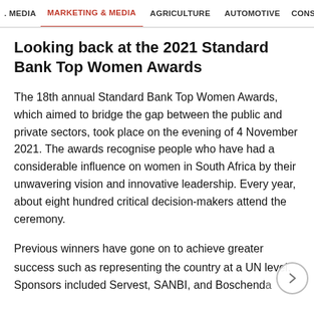. MEDIA   MARKETING & MEDIA   AGRICULTURE   AUTOMOTIVE   CONSTRU
Looking back at the 2021 Standard Bank Top Women Awards
The 18th annual Standard Bank Top Women Awards, which aimed to bridge the gap between the public and private sectors, took place on the evening of 4 November 2021. The awards recognise people who have had a considerable influence on women in South Africa by their unwavering vision and innovative leadership. Every year, about eight hundred critical decision-makers attend the ceremony.
Previous winners have gone on to achieve greater success such as representing the country at a UN level. Sponsors included Servest, SANBI, and Boschenda